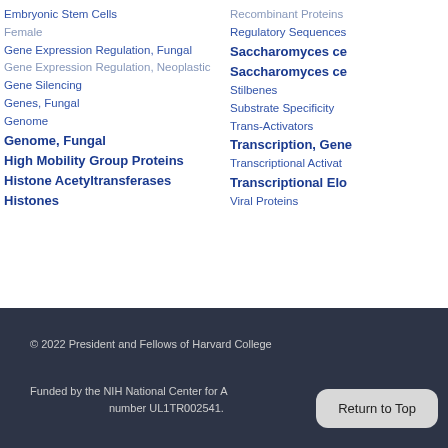Embryonic Stem Cells
Female
Gene Expression Regulation, Fungal
Gene Expression Regulation, Neoplastic
Gene Silencing
Genes, Fungal
Genome
Genome, Fungal
High Mobility Group Proteins
Histone Acetyltransferases
Histones
Recombinant Proteins
Regulatory Sequences
Saccharomyces cerevisiae
Saccharomyces cerevisiae
Stilbenes
Substrate Specificity
Trans-Activators
Transcription, Genetic
Transcriptional Activators
Transcriptional Elongation
Viral Proteins
© 2022 President and Fellows of Harvard College
Funded by the NIH National Center for Advancing Translational Sciences, grant number UL1TR002541.